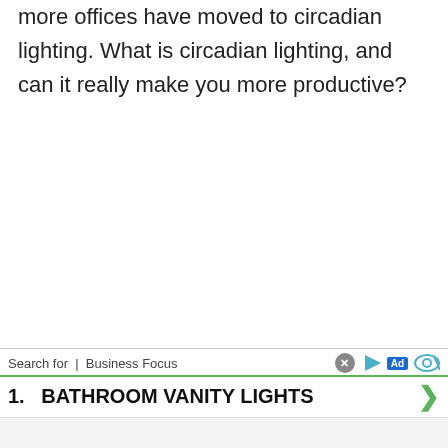more offices have moved to circadian lighting. What is circadian lighting, and can it really make you more productive?
[Figure (screenshot): Advertisement banner with 'Search for | Business Focus' label and icons (play, Ad badge, eye), showing item '1. BATHROOM VANITY LIGHTS' with a green arrow]